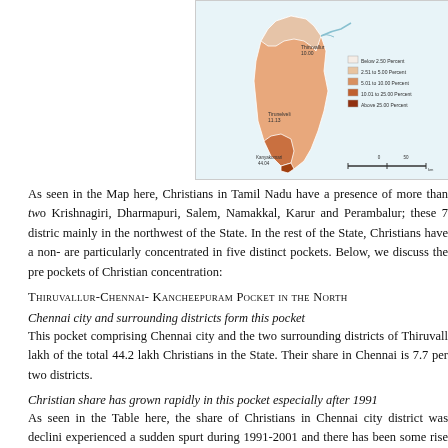[Figure (map): Choropleth map of Tamil Nadu showing Christian population percentage by district. Legend shows five categories: Below 2.50 Percent, 2.51 to 5.00 Percent, 5.01 to 10.00 Percent, 10.01 to 25.00 Percent, Above 25.00 Percent. Districts labeled include Thiruvallur (10.00), Tirunelveli (11.13), Kanyakumari (44.04).]
As seen in the Map here, Christians in Tamil Nadu have a presence of more than two... Krishnagiri, Dharmapuri, Salem, Namakkal, Karur and Perambalur; these 7 districts... mainly in the northwest of the State. In the rest of the State, Christians have a non-... are particularly concentrated in five distinct pockets. Below, we discuss the pre... pockets of Christian concentration:
Thiruvallur-Chennai- Kancheepuram Pocket in the North
Chennai city and surrounding districts form this pocket
This pocket comprising Chennai city and the two surrounding districts of Thiruvall... lakh of the total 44.2 lakh Christians in the State. Their share in Chennai is 7.7 per... two districts.
Christian share has grown rapidly in this pocket especially after 1991
As seen in the Table here, the share of Christians in Chennai city district was declin... experienced a sudden spurt during 1991-2001 and there has been some rise again in... Kancheepuram and Thiruvallur together formed the district of Chengalpattu up... composite district, the share of Christians has risen from 2.15 percent in 1951 to... 2011. The rise has been consistent and continuous, but it has been assisted by tw...